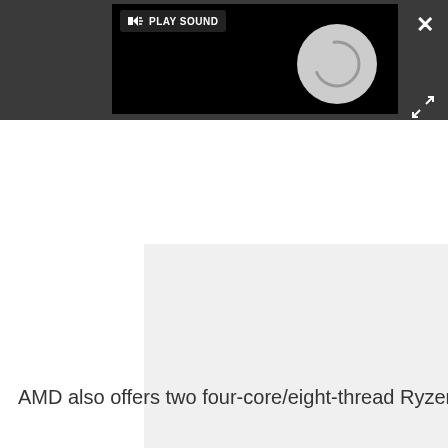[Figure (screenshot): Dark UI bar with a video player showing a loading spinner and a PLAY SOUND tooltip button. Top-right has a close X button and an expand/fullscreen arrows button.]
[Figure (screenshot): Light gray rectangular content/image area below the dark bar.]
AMD also offers two four-core/eight-thread Ryzen 5
[Figure (screenshot): Bottom white overlay bar with a gray close circle button in the top-right corner.]